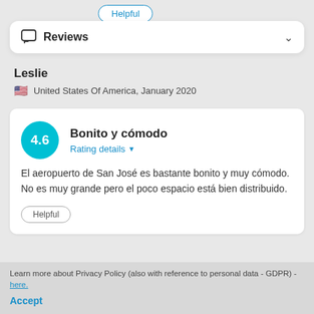Helpful
Reviews
Leslie
United States Of America, January 2020
4.6
Bonito y cómodo
Rating details
El aeropuerto de San José es bastante bonito y muy cómodo. No es muy grande pero el poco espacio está bien distribuido.
Learn more about Privacy Policy (also with reference to personal data - GDPR) - here.
Accept